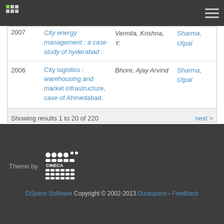DSpace repository navigation header
| Year | Title | Author | Advisor |
| --- | --- | --- | --- |
| 2007 | City energy management : a case study of hyderabad . | Vennila, Krishna, Y. | Sharma, Utpal |
| 2006 | City logistics : warehousing and market infrastructure, case of Ahmedabad. | Bhore, Ajay Arvind | Sharma, Utpal |
Showing results 1 to 20 of 220
Theme by CINECA. DSpace Software Copyright © 2002-2013 Duraspace - Feedback